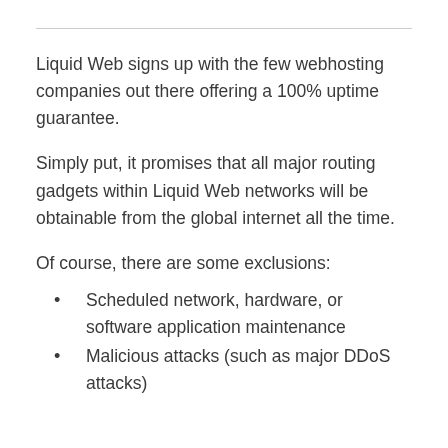Liquid Web signs up with the few webhosting companies out there offering a 100% uptime guarantee.
Simply put, it promises that all major routing gadgets within Liquid Web networks will be obtainable from the global internet all the time.
Of course, there are some exclusions:
Scheduled network, hardware, or software application maintenance
Malicious attacks (such as major DDoS attacks)